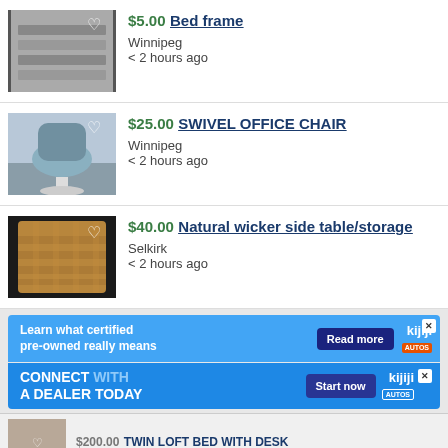[Figure (photo): Photo of bed frame parts (grey boards/slats)]
$5.00 Bed frame
Winnipeg
< 2 hours ago
[Figure (photo): Photo of a blue swivel office chair on white base]
$25.00 SWIVEL OFFICE CHAIR
Winnipeg
< 2 hours ago
[Figure (photo): Photo of a natural wicker side table/storage basket]
$40.00 Natural wicker side table/storage
Selkirk
< 2 hours ago
[Figure (screenshot): Kijiji Autos ad: Learn what certified pre-owned really means. Read more button.]
[Figure (screenshot): Kijiji Autos ad: Connect with a dealer today. Start now button.]
$200.00 TWIN LOFT BED WITH DESK